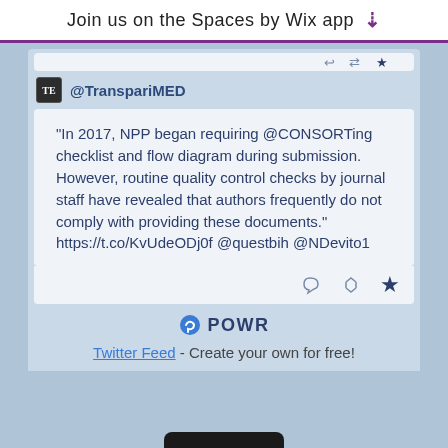Join us on the Spaces by Wix app ↓
@TranspariMED
"In 2017, NPP began requiring @CONSORTing checklist and flow diagram during submission. However, routine quality control checks by journal staff have revealed that authors frequently do not comply with providing these documents." https://t.co/KvUdeODj0f @questbih @NDevito1
[Figure (screenshot): POWR branding logo with circular icon and bold text 'POWR']
Twitter Feed - Create your own for free!